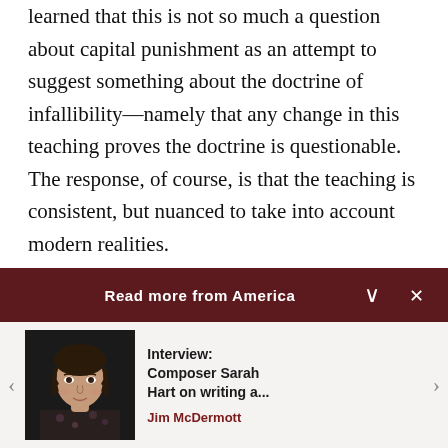learned that this is not so much a question about capital punishment as an attempt to suggest something about the doctrine of infallibility—namely that any change in this teaching proves the doctrine is questionable. The response, of course, is that the teaching is consistent, but nuanced to take into account modern realities.
A second frequent question focuses upon the
Read more from America
[Figure (photo): Portrait photo of a woman with dark hair against a dark background, wearing a floral patterned outfit]
Interview: Composer Sarah Hart on writing a...
Jim McDermott